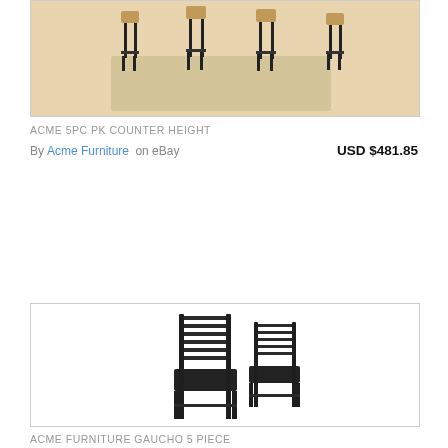[Figure (photo): Bar stools with wooden seats and black metal frames arranged on a light wood floor with a rug]
ACME 5PC PK COUNTER HEIGHT
By Acme Furniture on eBay   USD $481.85
[Figure (photo): Two black ladder-back dining chairs with dark upholstered seats]
ACME FURNITURE GAUCHO 5 PIECE